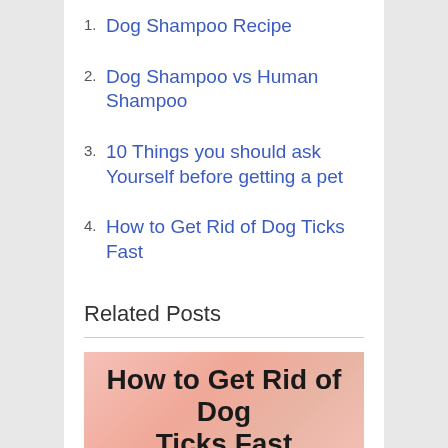1. Dog Shampoo Recipe
2. Dog Shampoo vs Human Shampoo
3. 10 Things you should ask Yourself before getting a pet
4. How to Get Rid of Dog Ticks Fast
Related Posts
[Figure (illustration): Thumbnail image for 'How to Get Rid of Dog Ticks Fast' with bold black title text on a pink/salmon patterned background]